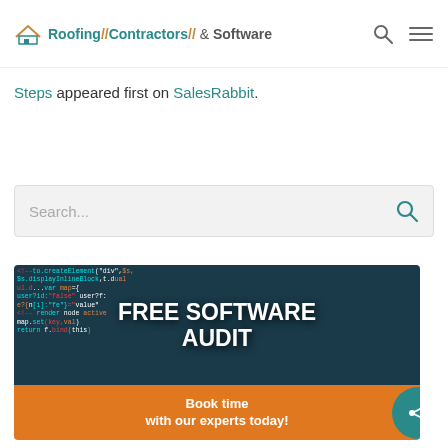Roofing//Contractors// & Software
Steps appeared first on SalesRabbit.
[Figure (screenshot): Search bar with placeholder text 'Search...' and a teal search icon on the right, on a light grey background.]
[Figure (infographic): Advertisement banner for a Free Software Audit. Top section shows dark background with colorful code text, overlaid with bold white text 'FREE SOFTWARE AUDIT'. Bottom orange section reads 'Book time with our experts today!' with a teal circular share button.]